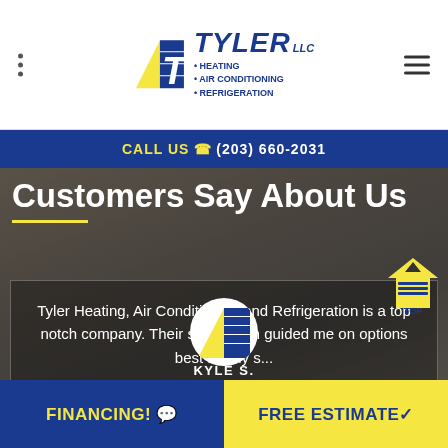[Figure (logo): Tyler LLC Heating Air Conditioning Refrigeration logo with T icon and yellow triangle]
CALL US (203) 660-2031
Customers Say About Us
Tyler Heating, Air Conditioning and Refrigeration is a top notch company. Their sales team guided me on options best for my s...
[Figure (logo): Tyler LLC circular logo badge]
KYLE S.
FINANCING! 💬
FREE ESTIMATE✓